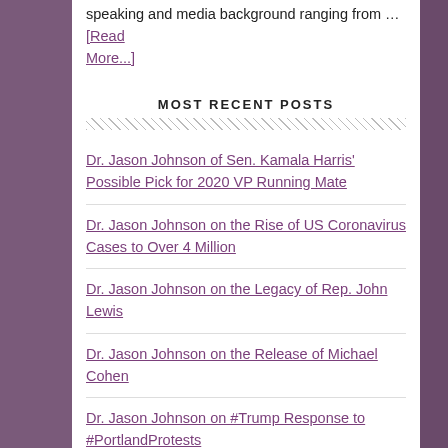speaking and media background ranging from … [Read More...]
MOST RECENT POSTS
Dr. Jason Johnson of Sen. Kamala Harris' Possible Pick for 2020 VP Running Mate
Dr. Jason Johnson on the Rise of US Coronavirus Cases to Over 4 Million
Dr. Jason Johnson on the Legacy of Rep. John Lewis
Dr. Jason Johnson on the Release of Michael Cohen
Dr. Jason Johnson on #Trump Response to #PortlandProtests